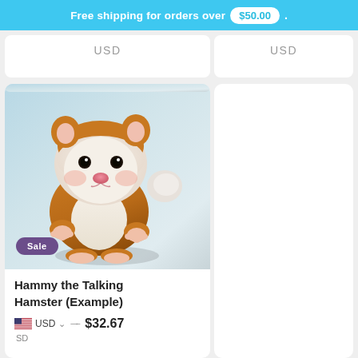Free shipping for orders over $50.00 .
USD
USD
[Figure (photo): Plush hamster toy (Hammy the Talking Hamster) standing upright against a light blue-grey background, brown and white coloring, with a Sale badge overlay]
Sale
Hammy the Talking Hamster (Example)
USD  → $32.67
SD